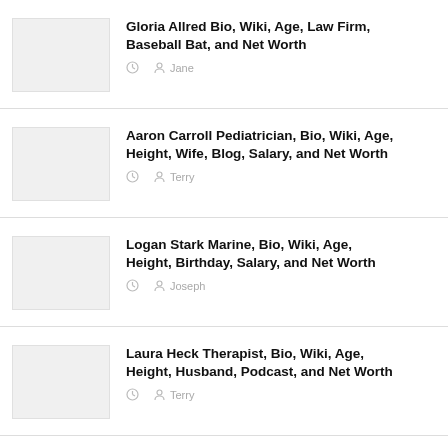Gloria Allred Bio, Wiki, Age, Law Firm, Baseball Bat, and Net Worth — Jane
Aaron Carroll Pediatrician, Bio, Wiki, Age, Height, Wife, Blog, Salary, and Net Worth — Terry
Logan Stark Marine, Bio, Wiki, Age, Height, Birthday, Salary, and Net Worth — Joseph
Laura Heck Therapist, Bio, Wiki, Age, Height, Husband, Podcast, and Net Worth — Terry
Frank For... [Bio, Wiki, Whitetail Bi...]